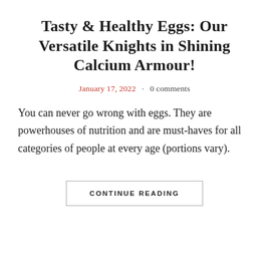Tasty & Healthy Eggs: Our Versatile Knights in Shining Calcium Armour!
January 17, 2022  ·  0 comments
You can never go wrong with eggs. They are powerhouses of nutrition and are must-haves for all categories of people at every age (portions vary).
CONTINUE READING